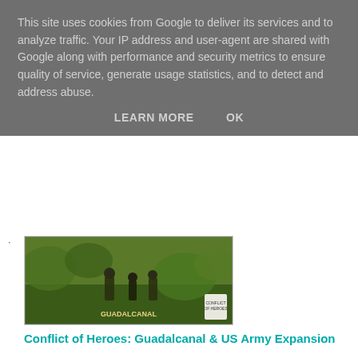This site uses cookies from Google to deliver its services and to analyze traffic. Your IP address and user-agent are shared with Google along with performance and security metrics to ensure quality of service, generate usage statistics, and to detect and address abuse.
LEARN MORE    OK
[Figure (photo): Box art for 'Conflict of Heroes: Guadalcanal & US Army Expansion' board game showing soldiers in jungle combat]
Conflict of Heroes: Guadalcanal & US Army Expansion
[Figure (logo): Check Your 6! logo with crosshair sight graphic and stylized text]
Check Your 6!